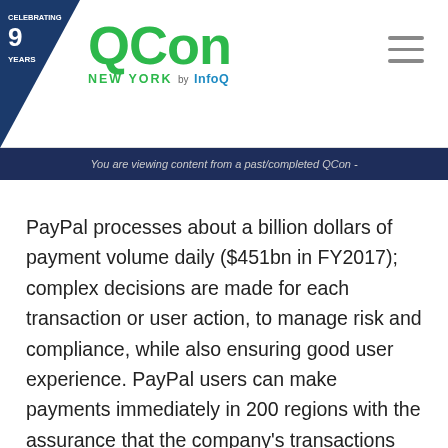CELEBRATING 9 YEARS | QCon NEW YORK by InfoQ
You are viewing content from a past/completed QCon -
PayPal processes about a billion dollars of payment volume daily ($451bn in FY2017); complex decisions are made for each transaction or user action, to manage risk and compliance, while also ensuring good user experience. PayPal users can make payments immediately in 200 regions with the assurance that the company’s transactions are secure. How does PayPal achieve this goal in today’s complex environment filled with "high-level" fraudsters as well as constantly increasing customer demand? While many industry solutions rely on fast